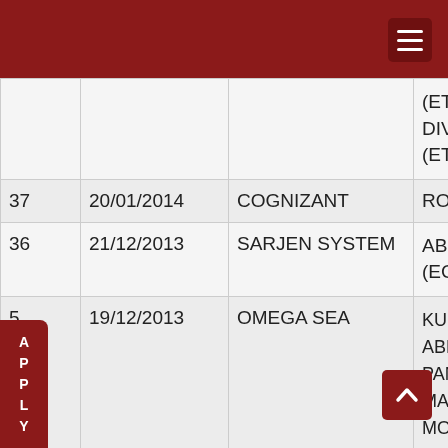| # | Date | Company | Students |
| --- | --- | --- | --- |
|  |  |  | (ETC)
DIVYA T
(ETC) |
| 37 | 20/01/2014 | COGNIZANT | RONAF... |
| 36 | 21/12/2013 | SARJEN SYSTEM | ABHISE...
(ECE) |
| 35 | 19/12/2013 | OMEGA SEA | KUNAL
ABHISE
PANDE
MANM
MOHAI
(MECH
N...
SA...
DANISI
RITESH |